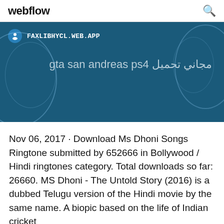webflow
[Figure (screenshot): Blue banner with a circular icon, URL FAXLIBHYCL.WEB.APP in white bold text, and Arabic/English text 'gta san andreas ps4 تحميل مجاني' on a dark blue background with decorative globe shapes]
Nov 06, 2017 · Download Ms Dhoni Songs Ringtone submitted by 652666 in Bollywood / Hindi ringtones category. Total downloads so far: 26660. MS Dhoni - The Untold Story (2016) is a dubbed Telugu version of the Hindi movie by the same name. A biopic based on the life of Indian cricket